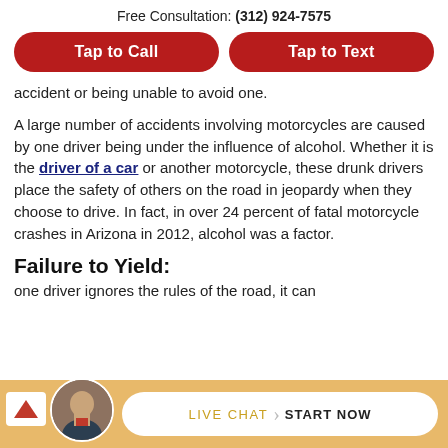Free Consultation: (312) 924-7575
[Figure (other): Two red pill-shaped call-to-action buttons: 'Tap to Call' and 'Tap to Text']
accident or being unable to avoid one.
A large number of accidents involving motorcycles are caused by one driver being under the influence of alcohol. Whether it is the driver of a car or another motorcycle, these drunk drivers place the safety of others on the road in jeopardy when they choose to drive. In fact, in over 24 percent of fatal motorcycle crashes in Arizona in 2012, alcohol was a factor.
Failure to Yield:
one driver ignores the rules of the road, it can
[Figure (other): Live Chat widget with avatar photo and 'LIVE CHAT › START NOW' button on gold background]